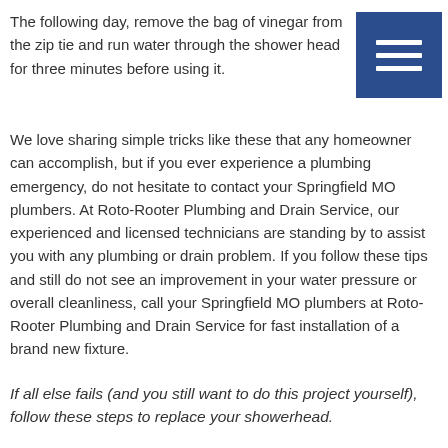The following day, remove the bag of vinegar from the zip tie and run water through the shower head for three minutes before using it.
[Figure (other): Dark blue square menu button with three horizontal white lines (hamburger menu icon)]
We love sharing simple tricks like these that any homeowner can accomplish, but if you ever experience a plumbing emergency, do not hesitate to contact your Springfield MO plumbers. At Roto-Rooter Plumbing and Drain Service, our experienced and licensed technicians are standing by to assist you with any plumbing or drain problem. If you follow these tips and still do not see an improvement in your water pressure or overall cleanliness, call your Springfield MO plumbers at Roto-Rooter Plumbing and Drain Service for fast installation of a brand new fixture.
If all else fails (and you still want to do this project yourself), follow these steps to replace your showerhead.